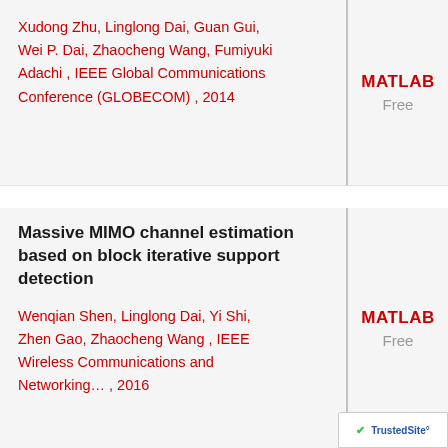Xudong Zhu, Linglong Dai, Guan Gui, Wei P. Dai, Zhaocheng Wang, Fumiyuki Adachi , IEEE Global Communications Conference (GLOBECOM) , 2014
MATLAB Free
Massive MIMO channel estimation based on block iterative support detection
Wenqian Shen, Linglong Dai, Yi Shi, Zhen Gao, Zhaocheng Wang , IEEE Wireless Communications and Networking… , 2016
MATLAB Free